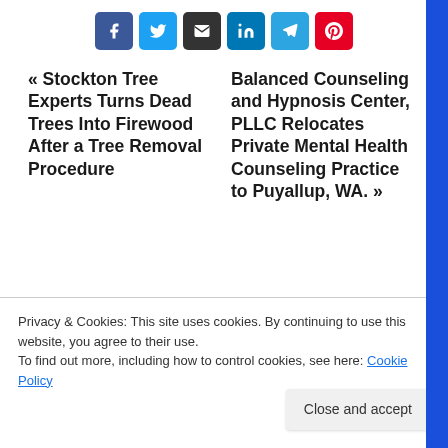[Figure (other): Row of social share buttons: Facebook (blue), Twitter (light blue), Email (dark/black), LinkedIn (blue), Telegram (blue), Pinterest (red)]
« Stockton Tree Experts Turns Dead Trees Into Firewood After a Tree Removal Procedure
Balanced Counseling and Hypnosis Center, PLLC Relocates Private Mental Health Counseling Practice to Puyallup, WA. »
Privacy & Cookies: This site uses cookies. By continuing to use this website, you agree to their use.
To find out more, including how to control cookies, see here: Cookie Policy